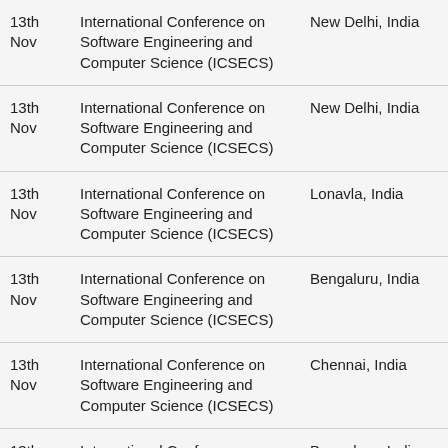| Date | Conference | Location |
| --- | --- | --- |
| 13th Nov | International Conference on Software Engineering and Computer Science (ICSECS) | New Delhi, India |
| 13th Nov | International Conference on Software Engineering and Computer Science (ICSECS) | New Delhi, India |
| 13th Nov | International Conference on Software Engineering and Computer Science (ICSECS) | Lonavla, India |
| 13th Nov | International Conference on Software Engineering and Computer Science (ICSECS) | Bengaluru, India |
| 13th Nov | International Conference on Software Engineering and Computer Science (ICSECS) | Chennai, India |
| 13th Nov | International Conference on Computer Science, Industrial Electronics (ICCSIE) | Bengaluru, India |